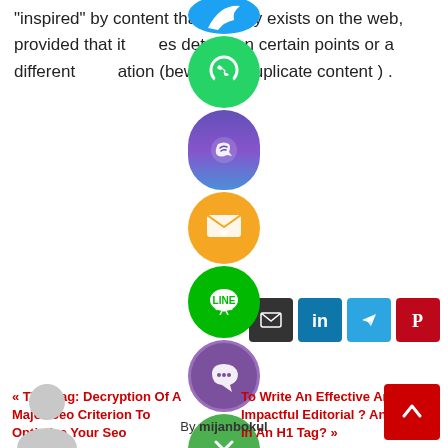“inspired” by content that already exists on the web, provided that it adds details on certain points or a different presentation (beware of duplicate content ) .
[Figure (screenshot): Row of social share icon buttons: email (dark), LinkedIn (blue), Telegram (blue), Pinterest (red)]
[Figure (screenshot): Floating social media share icons overlaid on content: Twitter (blue), WhatsApp (green), Viber/phone (blue), email/message (orange), LINE (green), Viber (purple), close button (green)]
« Title Tag: Decryption Of A Major Seo Criterion To Optimize Your Seo
To Write An Effective And Impactful Editorial ? And Why In An H1 Tag? »
By mijanbokul
[Figure (illustration): Gray silhouette avatar of a person]
[Figure (other): Red back-to-top button with upward chevron arrow]